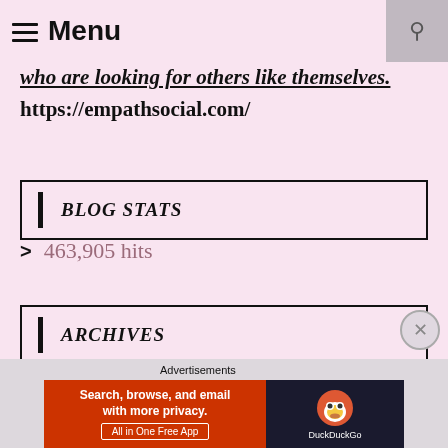Menu
who are looking for others like themselves.
https://empathsocial.com/
BLOG STATS
463,905 hits
ARCHIVES
Advertisements
Search, browse, and email with more privacy. All in One Free App — DuckDuckGo